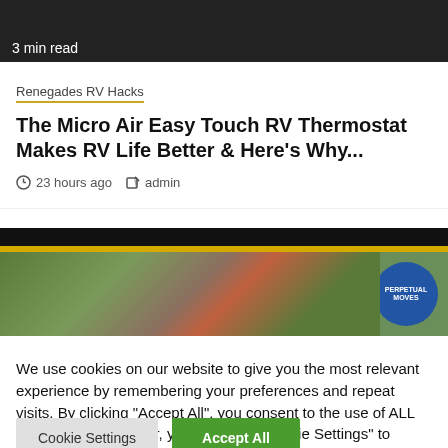[Figure (photo): Top portion of an article card image with '3 min read' label on dark background]
Renegades RV Hacks
The Micro Air Easy Touch RV Thermostat Makes RV Life Better & Here's Why...
23 hours ago  admin
[Figure (photo): Outdoor river/rafting scene image with yellow banner and blue circular 'Perpetual Moves' badge]
We use cookies on our website to give you the most relevant experience by remembering your preferences and repeat visits. By clicking "Accept All", you consent to the use of ALL the cookies. However, you may visit "Cookie Settings" to provide a controlled consent.
Cookie Settings
Accept All